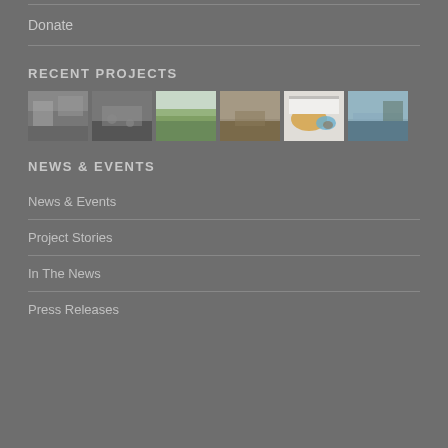Donate
RECENT PROJECTS
[Figure (photo): Six thumbnail photos of recent projects: rocky terrain, stream with rocks, green hills, eroded slope, map/diagram, lake with trees]
NEWS & EVENTS
News & Events
Project Stories
In The News
Press Releases